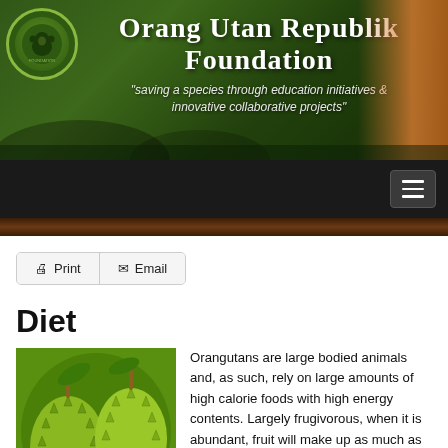[Figure (illustration): Orang Utan Republik Foundation website header banner with forest background, logo circle on left, orangutan on right, title text and subtitle]
Diet
[Figure (photo): Photo of spiky green durian or similar tropical fruit hanging from a branch]
Orangutans are large bodied animals and, as such, rely on large amounts of high calorie foods with high energy contents. Largely frugivorous, when it is abundant, fruit will make up as much as 90% of their diet, supplemented with leaves, shoots, seeds, buds, flowers, bark, insects and mineral rich soil, and occasional instances of meat eating (Morris, 2008; Galdikas, 1988). However, the type and variety of food types eaten has been shown to be heavily influenced by